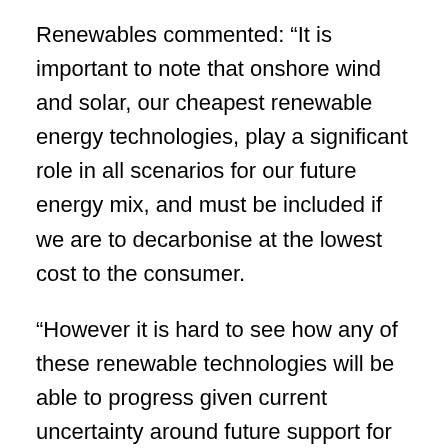Renewables commented: “It is important to note that onshore wind and solar, our cheapest renewable energy technologies, play a significant role in all scenarios for our future energy mix, and must be included if we are to decarbonise at the lowest cost to the consumer.
“However it is hard to see how any of these renewable technologies will be able to progress given current uncertainty around future support for the sector from the very Government whose advisors are recommending their expansion.
“The report also contradicts the UK Government’s recent statement to only support the deployment of future